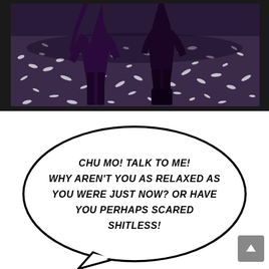[Figure (illustration): Comic panel showing two figures' legs/feet standing on a dark purple textured ground scattered with white debris or petals. The figures wear dark purple/black clothing.]
[Figure (illustration): White comic panel with a large speech bubble containing dialogue text and a tail pointing downward.]
CHU MO! TALK TO ME! WHY AREN'T YOU AS RELAXED AS YOU WERE JUST NOW? OR HAVE YOU PERHAPS SCARED SHITLESS!